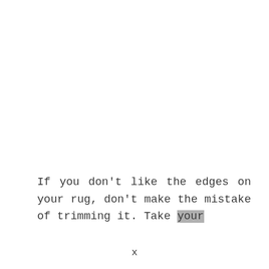If you don't like the edges on your rug, don't make the mistake of trimming it. Take your
x